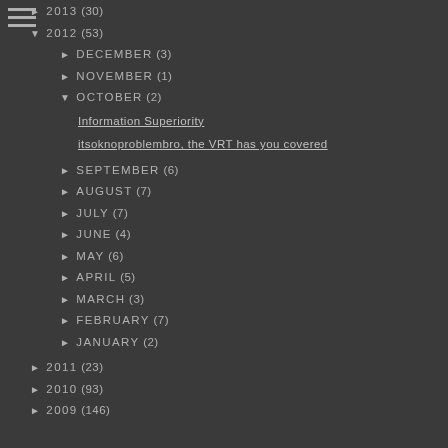► 2013 (30)
▼ 2012 (53)
► DECEMBER (3)
► NOVEMBER (1)
▼ OCTOBER (2)
Information Superiority
itsoknoproblembro, the VRT has you covered
► SEPTEMBER (6)
► AUGUST (7)
► JULY (7)
► JUNE (4)
► MAY (6)
► APRIL (5)
► MARCH (3)
► FEBRUARY (7)
► JANUARY (2)
► 2011 (23)
► 2010 (93)
► 2009 (146)